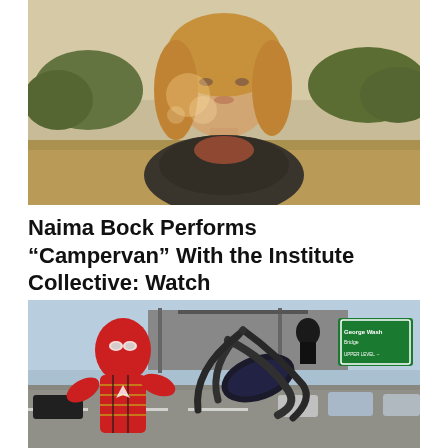[Figure (photo): Young woman with long blonde hair outdoors in a field or meadow, trees in background, warm sunlight with lens flare, wearing a dark top with floral/patterned scarf]
Naima Bock Performs “Campervan” With the Institute Collective: Watch
[Figure (photo): Spider-Man in red and gold Iron Spider suit on a highway overpass alongside Doctor Octopus with mechanical tentacles, cars on road, green highway sign reading George Washington in background, action scene from Spider-Man: No Way Home]